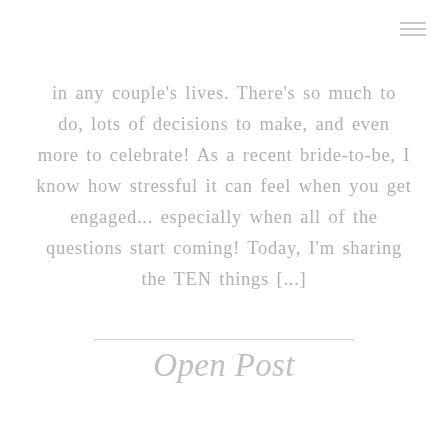in any couple's lives. There's so much to do, lots of decisions to make, and even more to celebrate! As a recent bride-to-be, I know how stressful it can feel when you get engaged... especially when all of the questions start coming! Today, I'm sharing the TEN things [...]
Open Post